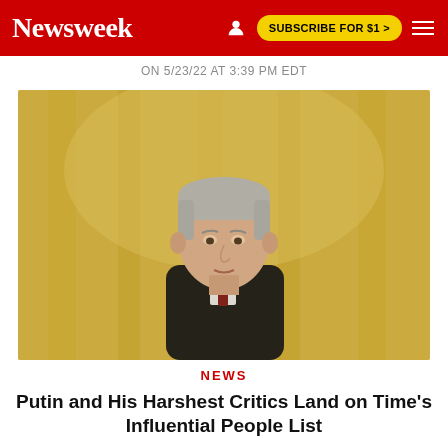Newsweek  SUBSCRIBE FOR $1 >
ON 5/23/22 AT 3:39 PM EDT
[Figure (photo): Photo of Vladimir Putin seated in a dark suit against a golden ornate background, looking forward with a serious expression]
NEWS
Putin and His Harshest Critics Land on Time's Influential People List